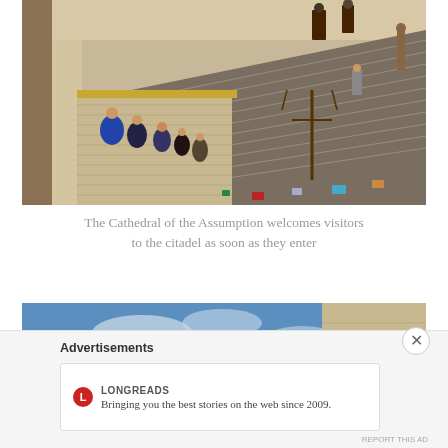[Figure (photo): Photograph of the Cathedral of the Assumption steps with visitors and monks in robes, wide stone staircase leading up to the cathedral entrance]
The Cathedral of the Assumption welcomes visitors to the citadel as soon as they enter
[Figure (photo): Partial photograph showing blue sky and stone architectural element of a citadel or fortress]
Advertisements
LONGREADS
Bringing you the best stories on the web since 2009.